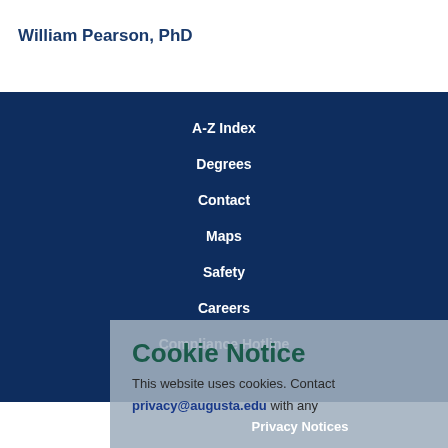William Pearson, PhD
A-Z Index
Degrees
Contact
Maps
Safety
Careers
Compliance Hotline
Cookie Notice
This website uses cookies. Contact privacy@augusta.edu with any
Privacy Notices